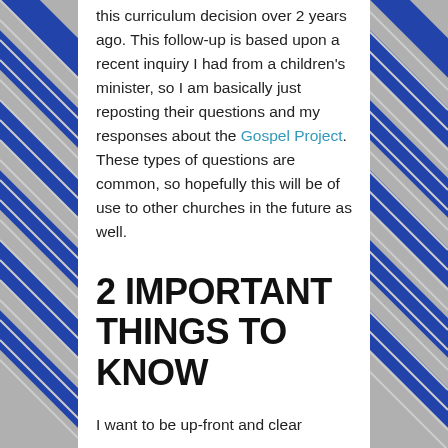this curriculum decision over 2 years ago. This follow-up is based upon a recent inquiry I had from a children's minister, so I am basically just reposting their questions and my responses about the Gospel Project. These types of questions are common, so hopefully this will be of use to other churches in the future as well.
2 IMPORTANT THINGS TO KNOW
I want to be up-front and clear